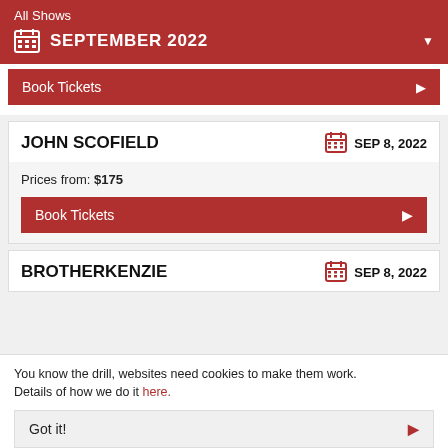All Shows
SEPTEMBER 2022
Book Tickets
JOHN SCOFIELD
SEP 8, 2022
Prices from: $175
Book Tickets
BROTHERKENZIE
SEP 8, 2022
You know the drill, websites need cookies to make them work. Details of how we do it here.
Got it!